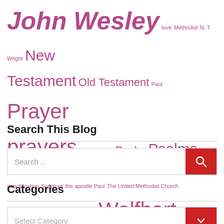John Wesley love Methodist N. T. Wright New Testament Old Testament Paul Prayer prayers prophet Amos Psalm Psalms salvation sanctification Scripture the apostle Paul The United Methodist Church Thomas Aquinas Thomas C. Upham Wolfhart Pannenberg YHWH
Search This Blog
[Figure (other): Search input box with red search button containing a magnifying glass icon, placeholder text 'Search ...']
Categories
[Figure (other): Dropdown select box with red chevron button, placeholder text 'Select Category']